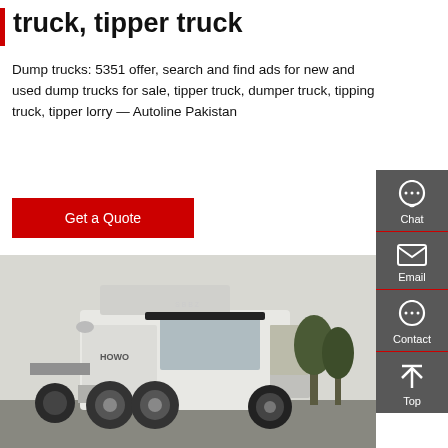truck, tipper truck
Dump trucks: 5351 offer, search and find ads for new and used dump trucks for sale, tipper truck, dumper truck, tipping truck, tipper lorry — Autoline Pakistan
[Figure (other): Red 'Get a Quote' button]
[Figure (photo): White HOWO semi-truck tractor unit parked in a lot with trees in the background]
[Figure (infographic): Right-side floating sidebar with Chat, Email, Contact, and Top icons on dark grey background]